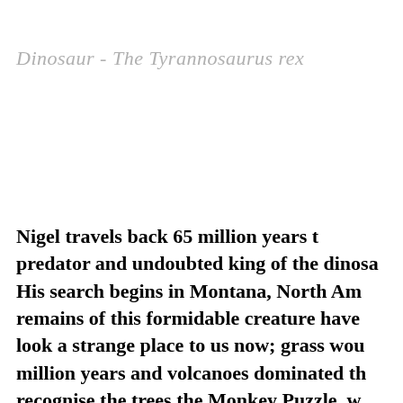Dinosaur -  The Tyrannosaurus rex
Nigel travels back 65 million years t predator and undoubted king of the dinosa His search begins in Montana, North Am remains of this formidable creature have look a strange place to us now; grass wou million years and volcanoes dominated th recognise the trees the Monkey Puzzle, w